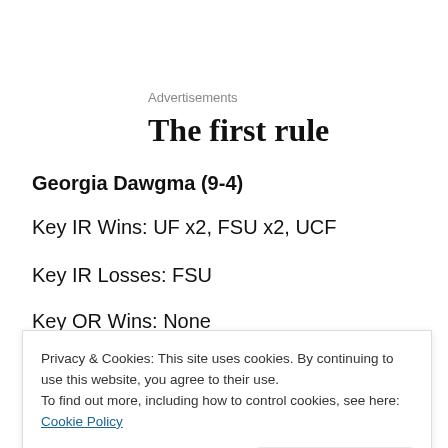Advertisements
The first rule
Georgia Dawgma (9-4)
Key IR Wins: UF x2, FSU x2, UCF
Key IR Losses: FSU
Key OR Wins: None
Privacy & Cookies: This site uses cookies. By continuing to use this website, you agree to their use.
To find out more, including how to control cookies, see here: Cookie Policy
Close and accept
The results for the tournament of an important Florida